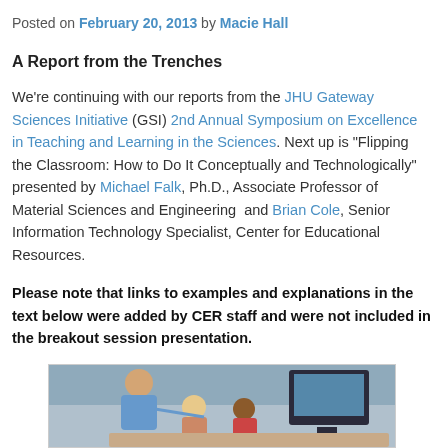Posted on February 20, 2013 by Macie Hall
A Report from the Trenches
We're continuing with our reports from the JHU Gateway Sciences Initiative (GSI) 2nd Annual Symposium on Excellence in Teaching and Learning in the Sciences. Next up is “Flipping the Classroom: How to Do It Conceptually and Technologically” presented by Michael Falk, Ph.D., Associate Professor of Material Sciences and Engineering  and Brian Cole, Senior Information Technology Specialist, Center for Educational Resources.
Please note that links to examples and explanations in the text below were added by CER staff and were not included in the breakout session presentation.
[Figure (photo): Classroom photo showing an instructor leaning over to assist students looking at a computer monitor]